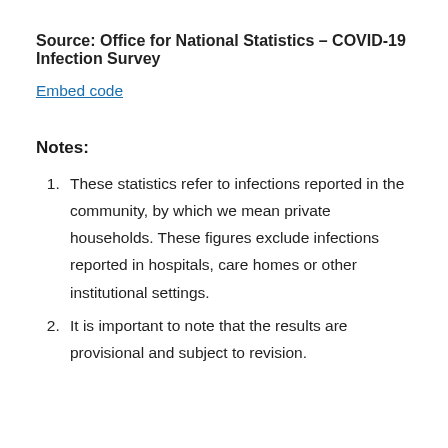Source: Office for National Statistics – COVID-19 Infection Survey
Embed code
Notes:
These statistics refer to infections reported in the community, by which we mean private households. These figures exclude infections reported in hospitals, care homes or other institutional settings.
It is important to note that the results are provisional and subject to revision.